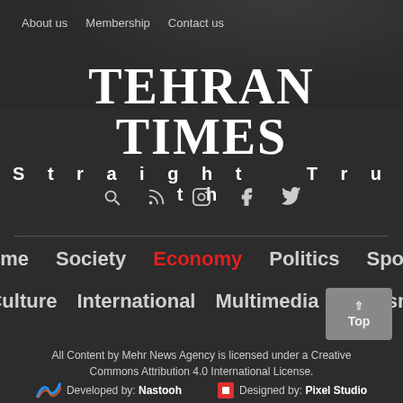About us   Membership   Contact us
TEHRAN TIMES
Straight Truth
[Figure (infographic): Social media icons: search, RSS, Instagram, Facebook, Twitter]
Home
Society
Economy (active/highlighted in red)
Politics
Sports
Culture
International
Multimedia
Tourism
All Content by Mehr News Agency is licensed under a Creative Commons Attribution 4.0 International License.
Developed by: Nastooh   Designed by: Pixel Studio